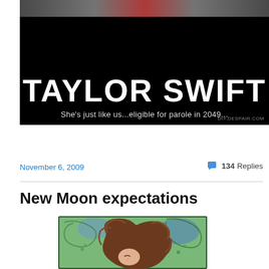[Figure (illustration): Black background image with 'TAYLOR SWIFT' in large white letters and tagline 'She's just like us...eligible for parole in 2049...' with a colorful top strip and DIY.DESPAIR.COM watermark]
Continue reading →
November 6, 2009
134 Replies
New Moon expectations
[Figure (illustration): Art nouveau style illustration of a woman with flowing curly brown hair surrounded by green decorative swirls and blue background, looking downward]